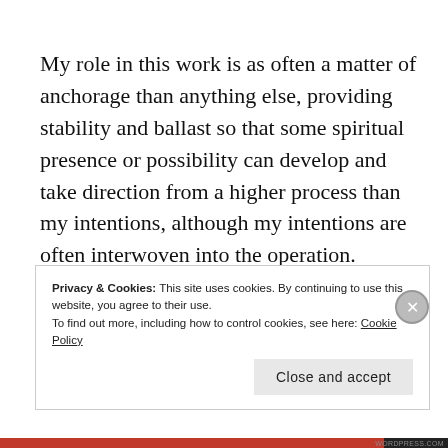My role in this work is as often a matter of anchorage than anything else, providing stability and ballast so that some spiritual presence or possibility can develop and take direction from a higher process than my intentions, although my intentions are often interwoven into the operation.
Privacy & Cookies: This site uses cookies. By continuing to use this website, you agree to their use. To find out more, including how to control cookies, see here: Cookie Policy